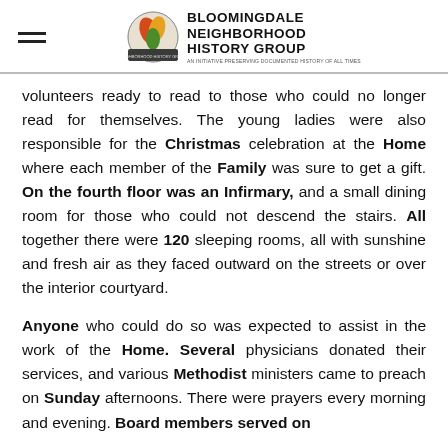BLOOMINGDALE NEIGHBORHOOD HISTORY GROUP
volunteers ready to read to those who could no longer read for themselves. The young ladies were also responsible for the Christmas celebration at the Home where each member of the Family was sure to get a gift. On the fourth floor was an Infirmary, and a small dining room for those who could not descend the stairs. All together there were 120 sleeping rooms, all with sunshine and fresh air as they faced outward on the streets or over the interior courtyard.
Anyone who could do so was expected to assist in the work of the Home. Several physicians donated their services, and various Methodist ministers came to preach on Sunday afternoons. There were prayers every morning and evening. Board members served on